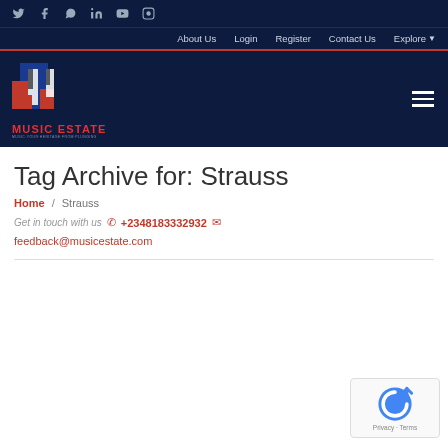Social icons: Twitter, Facebook, WhatsApp, LinkedIn, YouTube, Instagram
Navigation: About Us | Login | Register | Contact Us | Explore
[Figure (logo): Music Estate logo with red, white and blue piano key graphic and text MUSIC ESTATE]
Tag Archive for: Strauss
Home / Strauss
Get in touch with us  +2348183332932  feedback@musicestate.com